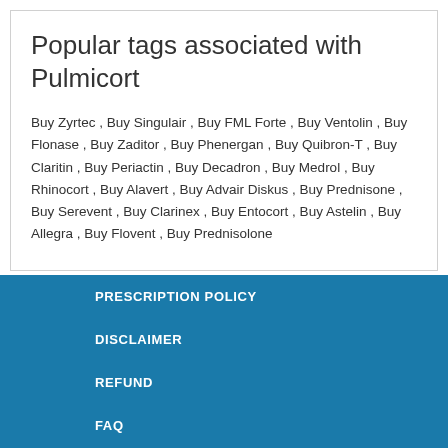Popular tags associated with Pulmicort
Buy Zyrtec , Buy Singulair , Buy FML Forte , Buy Ventolin , Buy Flonase , Buy Zaditor , Buy Phenergan , Buy Quibron-T , Buy Claritin , Buy Periactin , Buy Decadron , Buy Medrol , Buy Rhinocort , Buy Alavert , Buy Advair Diskus , Buy Prednisone , Buy Serevent , Buy Clarinex , Buy Entocort , Buy Astelin , Buy Allegra , Buy Flovent , Buy Prednisolone
PRESCRIPTION POLICY
DISCLAIMER
REFUND
FAQ
TERMS OF USE